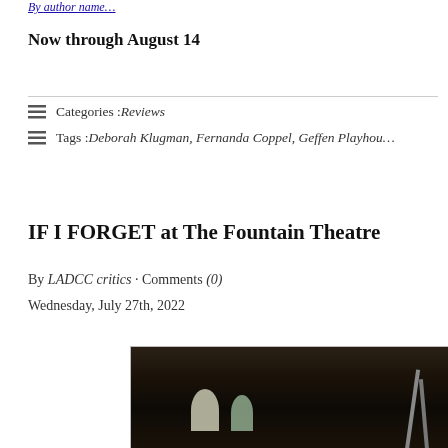By [author name cut off]
Now through August 14
Categories : Reviews
Tags : Deborah Klugman, Fernanda Coppel, Geffen Playhouse
IF I FORGET at The Fountain Theatre
By LADCC critics · Comments (0)
Wednesday, July 27th, 2022
[Figure (photo): Dark indoor scene with lamps and crutches visible in background]